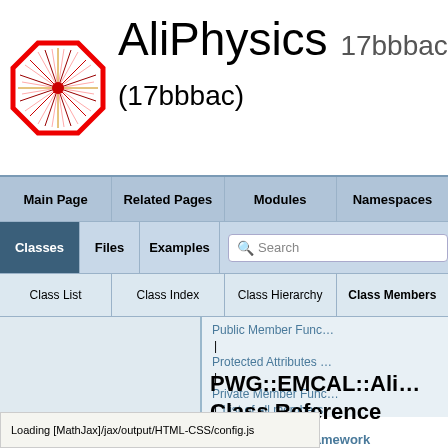[Figure (logo): AliPhysics octagon logo with radiating lines in red and gold]
AliPhysics 17bbbac (17bbbac)
Main Page | Related Pages | Modules | Namespaces
Classes | Files | Examples | Search
Class List | Class Index | Class Hierarchy | Class Members
Public Member Func… | Protected Attributes … | Private Member Func… | List of all members
PWG::EMCAL::Ali… Class Reference
EMCAL trigger framework
Loading [MathJax]/jax/output/HTML-CSS/config.js